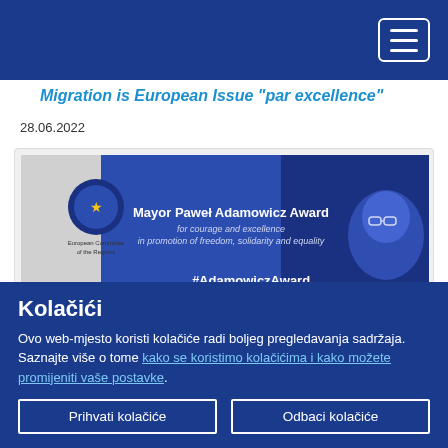Navigation bar with hamburger menu
Migration is European Issue "par excellence"
28.06.2022
[Figure (illustration): Mayor Pawel Adamowicz Award banner — blue background with European Committee of the Regions logo, CDMEX and ICORN logos, award title text 'Mayor Pawel Adamowicz Award for courage and excellence in promotion of freedom, solidarity and equality', hashtag '#AdamowiczAward', and a stylized portrait of Mayor Adamowicz on the right side.]
Nomination open for Mayor Pawel Adamowicz...
Kolačići
Ovo web-mjesto koristi kolačiće radi boljeg pregledavanja sadržaja. Saznajte više o tome kako se koristimo kolačićima i kako možete promijeniti vaše postavke.
Prihvati kolačiće
Odbaci kolačiće